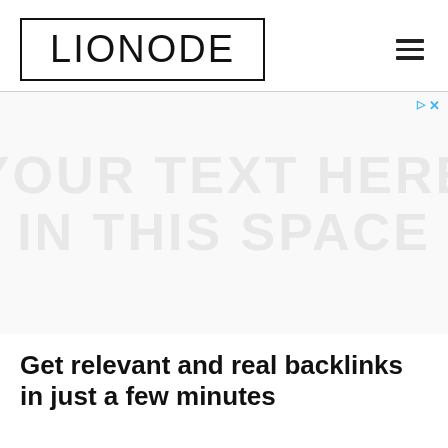LIONODE
[Figure (other): Advertisement placeholder area with faint watermark text reading 'YOUR TEXT HERE' and 'IN THIS SPACE', with ad control icons (play and close) in the top right corner]
Get relevant and real backlinks in just a few minutes